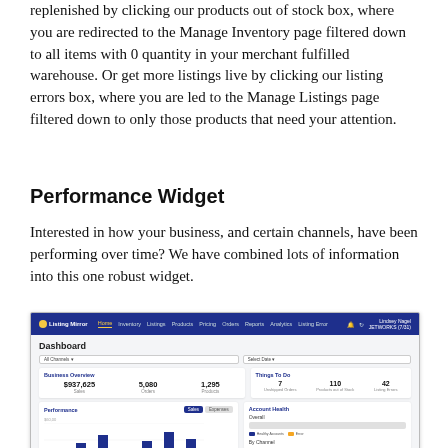replenished by clicking our products out of stock box, where you are redirected to the Manage Inventory page filtered down to all items with 0 quantity in your merchant fulfilled warehouse. Or get more listings live by clicking our listing errors box, where you are led to the Manage Listings page filtered down to only those products that need your attention.
Performance Widget
Interested in how your business, and certain channels, have been performing over time? We have combined lots of information into this one robust widget.
[Figure (screenshot): Screenshot of the Listing Mirror Dashboard showing Business Overview ($937,625 Sales, 5,080 Orders, 1,295 Products), Things To Do (7 Unshipped Orders, 110 Products out of Stock, 42 Listing Errors), a Performance chart with bar graph, and an Account Health panel with progress bars.]